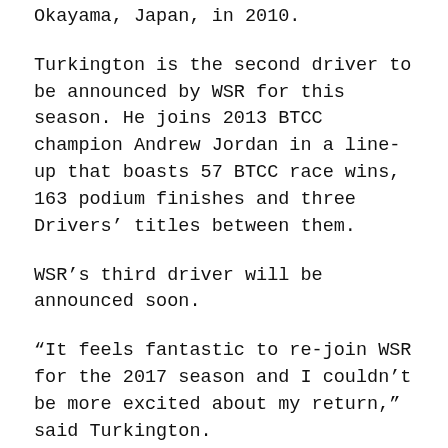Okayama, Japan, in 2010.
Turkington is the second driver to be announced by WSR for this season. He joins 2013 BTCC champion Andrew Jordan in a line-up that boasts 57 BTCC race wins, 163 podium finishes and three Drivers' titles between them.
WSR's third driver will be announced soon.
“It feels fantastic to re-join WSR for the 2017 season and I couldn’t be more excited about my return,” said Turkington.
“From my debut in touring cars in 2002 right through to winning my second BTCC title, it’s been like a second home for me and my greatest achievements in motor racing have all come with them.
“Combining our accumulated rear-wheel-drive expertise and strong work ethic is a recipe for success and I’m confident this gives me the perfect opportunity to fight for honours once again. I’m particularly looking forward to driving the